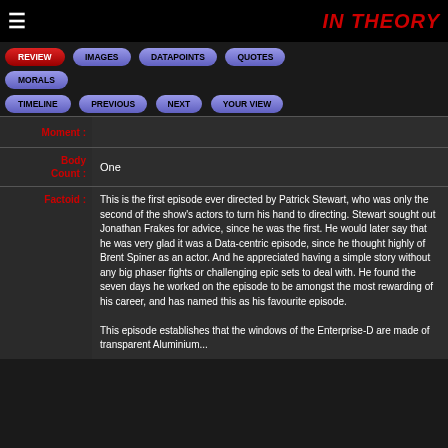IN THEORY
REVIEW
IMAGES
DATAPOINTS
QUOTES
MORALS
TIMELINE
PREVIOUS
NEXT
YOUR VIEW
| Label | Content |
| --- | --- |
| Moment : |  |
| Body Count : | One |
| Factoid : | This is the first episode ever directed by Patrick Stewart, who was only the second of the show's actors to turn his hand to directing. Stewart sought out Jonathan Frakes for advice, since he was the first. He would later say that he was very glad it was a Data-centric episode, since he thought highly of Brent Spiner as an actor. And he appreciated having a simple story without any big phaser fights or challenging epic sets to deal with. He found the seven days he worked on the episode to be amongst the most rewarding of his career, and has named this as his favourite episode.

This episode establishes that the windows of the Enterprise-D are made of transparent Aluminium... |